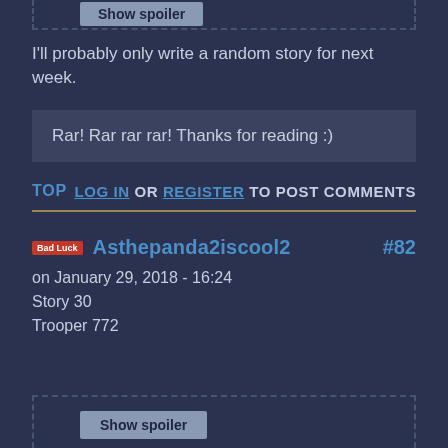I'll probably only write a random story for next week.
Rar! Rar rar rar! Thanks for reading :)
TOP   LOG IN OR REGISTER TO POST COMMENTS
Asthepanda2iscool2  #82
on January 29, 2018 - 16:24
Story 30
Trooper 772
Show spoiler